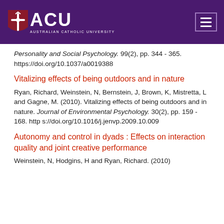ACU Australian Catholic University
Personality and Social Psychology. 99(2), pp. 344 - 365. https://doi.org/10.1037/a0019388
Vitalizing effects of being outdoors and in nature
Ryan, Richard, Weinstein, N, Bernstein, J, Brown, K, Mistretta, L and Gagne, M. (2010). Vitalizing effects of being outdoors and in nature. Journal of Environmental Psychology. 30(2), pp. 159 - 168. https://doi.org/10.1016/j.jenvp.2009.10.009
Autonomy and control in dyads : Effects on interaction quality and joint creative performance
Weinstein, N, Hodgins, H and Ryan, Richard. (2010)